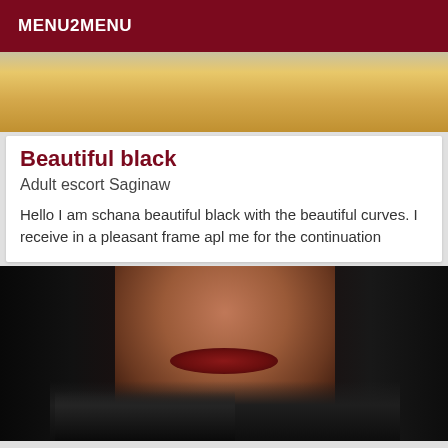MENU2MENU
[Figure (photo): Partial photo showing a yellow/mustard colored top, cropped at torso level]
Beautiful black
Adult escort Saginaw
Hello I am schana beautiful black with the beautiful curves. I receive in a pleasant frame apl me for the continuation
[Figure (photo): Close-up portrait photo of a woman with long black hair, dark complexion, wearing a black furry jacket, with building/trees visible in background]